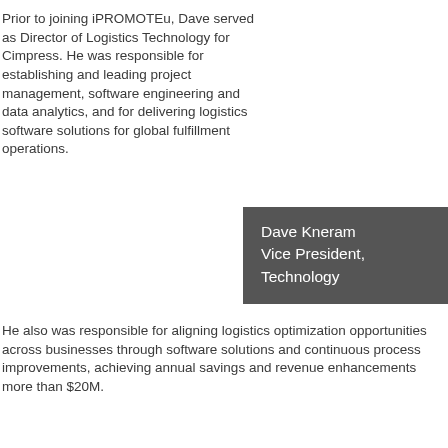Prior to joining iPROMOTEu, Dave served as Director of Logistics Technology for Cimpress. He was responsible for establishing and leading project management, software engineering and data analytics, and for delivering logistics software solutions for global fulfillment operations.
Dave Kneram
Vice President,
Technology
He also was responsible for aligning logistics optimization opportunities across businesses through software solutions and continuous process improvements, achieving annual savings and revenue enhancements more than $20M.